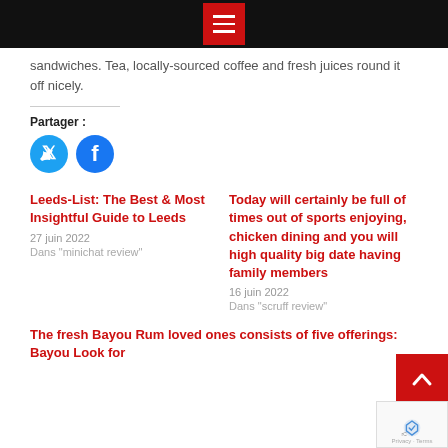Navigation menu
sandwiches. Tea, locally-sourced coffee and fresh juices round it off nicely.
Partager :
[Figure (illustration): Twitter and Facebook social share circular icon buttons in blue]
Leeds-List: The Best & Most Insightful Guide to Leeds
27 juin 2022
Dans "minichat review"
Today will certainly be full of times out of sports enjoying, chicken dining and you will high quality big date having family members
16 juin 2022
Dans "scruff review"
The fresh Bayou Rum loved ones consists of five offerings: Bayou Look for